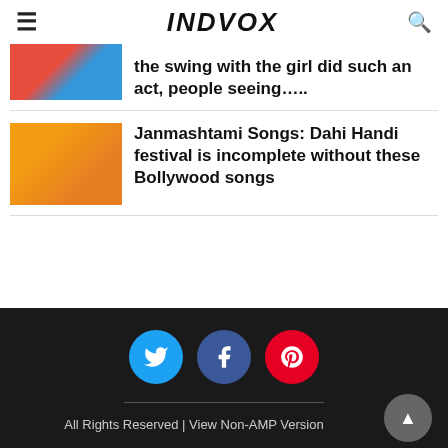INDVOX
the swing with the girl did such an act, people seeing…..
Janmashtami Songs: Dahi Handi festival is incomplete without these Bollywood songs
All Rights Reserved | View Non-AMP Version